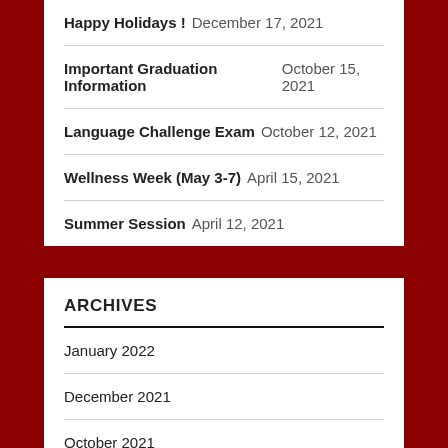Happy Holidays ! December 17, 2021
Important Graduation Information October 15, 2021
Language Challenge Exam October 12, 2021
Wellness Week (May 3-7) April 15, 2021
Summer Session April 12, 2021
ARCHIVES
January 2022
December 2021
October 2021